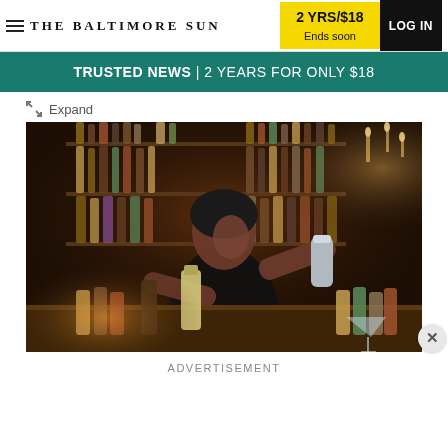THE BALTIMORE SUN | 2 YRS/$18 Ends soon | LOG IN
TRUSTED NEWS | 2 YEARS FOR ONLY $18
Expand
[Figure (photo): A bartender wearing black smiles while shaking a cocktail shaker at a bar filled with bottles of liquor in a warmly lit setting.]
ADVERTISEMENT